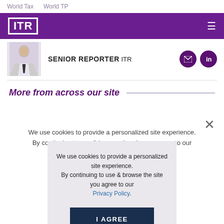World Tax   World TP
[Figure (logo): ITR logo — white text in white border box on purple background bar with hamburger menu icon]
SENIOR REPORTER ITR
More from across our site
We use cookies to provide a personalized site experience. By continuing to use & browse the site you agree to our Privacy Policy.
I AGREE